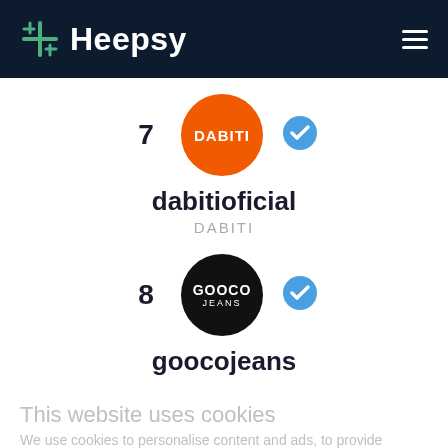Heepsy
7
[Figure (logo): Circular orange logo with white text DABITI]
[Figure (logo): Blue verified/checkmark badge icon]
dabitioficial
DABITI
8
[Figure (logo): Circular black logo with white text GOOCO JEANS]
[Figure (logo): Blue verified/checkmark badge icon]
goocojeans
This website uses cookies
We use cookies to personalise content and ads, to provide